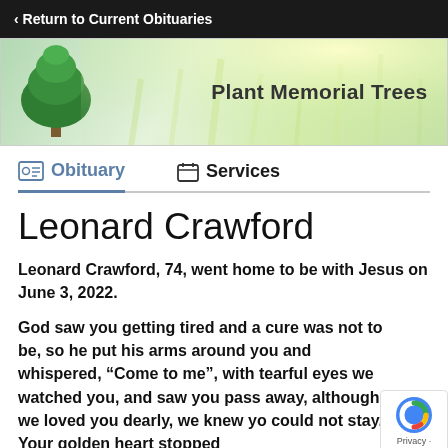< Return to Current Obituaries
[Figure (illustration): Banner image with a green tree on the left and a bright field background. Text reads 'Plant Memorial Trees' in bold dark lettering.]
Obituary
Services
Leonard Crawford
Leonard Crawford, 74, went home to be with Jesus on June 3, 2022.
God saw you getting tired and a cure was not to be, so he put his arms around you and whispered, “Come to me”, with tearful eyes we watched you, and saw you pass away, although we loved you dearly, we knew yo could not stay. Your golden heart stopped